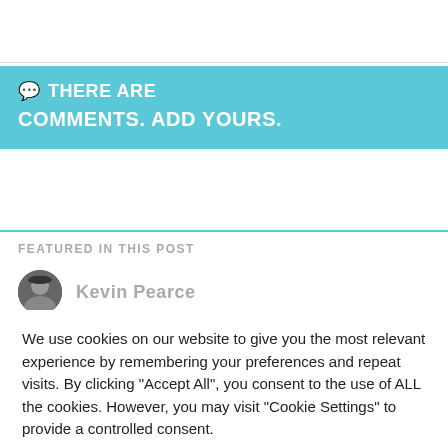💬 THERE ARE
COMMENTS. ADD YOURS.
FEATURED IN THIS POST
Kevin Pearce
We use cookies on our website to give you the most relevant experience by remembering your preferences and repeat visits. By clicking "Accept All", you consent to the use of ALL the cookies. However, you may visit "Cookie Settings" to provide a controlled consent.